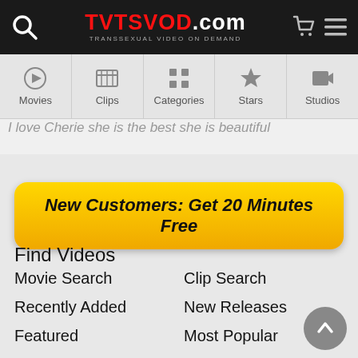TVTSVOD.com — TRANSSEXUAL VIDEO ON DEMAND
I love Cherie she is the best she is beautiful
New Customers: Get 20 Minutes Free
Find Videos
Movie Search
Clip Search
Recently Added
New Releases
Featured
Most Popular
By Category
By Star